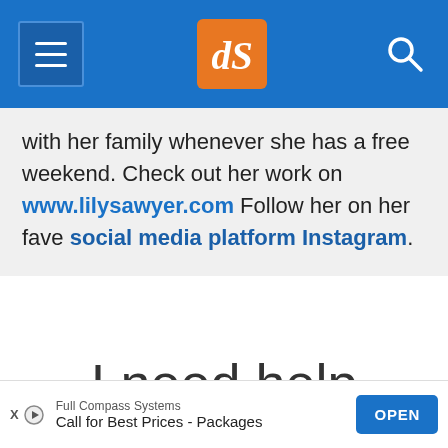dPS navigation header with menu, logo, and search
with her family whenever she has a free weekend. Check out her work on www.lilysawyer.com Follow her on her fave social media platform Instagram.
I need help with...
[Figure (screenshot): Advertisement banner: Full Compass Systems - Call for Best Prices-Packages with OPEN button]